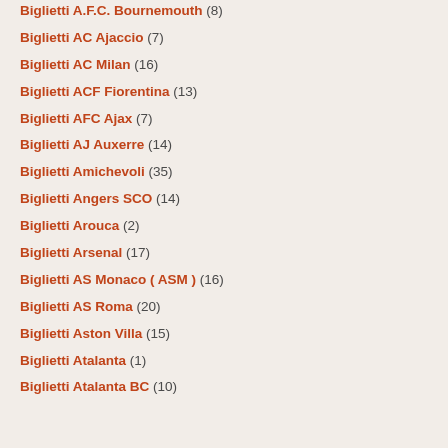Biglietti A.F.C. Bournemouth (8)
Biglietti AC Ajaccio (7)
Biglietti AC Milan (16)
Biglietti ACF Fiorentina (13)
Biglietti AFC Ajax (7)
Biglietti AJ Auxerre (14)
Biglietti Amichevoli (35)
Biglietti Angers SCO (14)
Biglietti Arouca (2)
Biglietti Arsenal (17)
Biglietti AS Monaco ( ASM ) (16)
Biglietti AS Roma (20)
Biglietti Aston Villa (15)
Biglietti Atalanta (1)
Biglietti Atalanta BC (10)